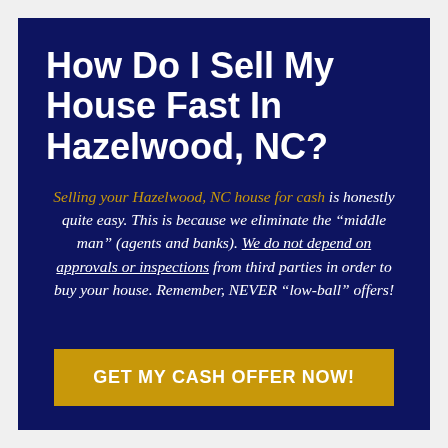How Do I Sell My House Fast In Hazelwood, NC?
Selling your Hazelwood, NC house for cash is honestly quite easy. This is because we eliminate the “middle man” (agents and banks). We do not depend on approvals or inspections from third parties in order to buy your house. Remember, NEVER “low-ball” offers!
GET MY CASH OFFER NOW!